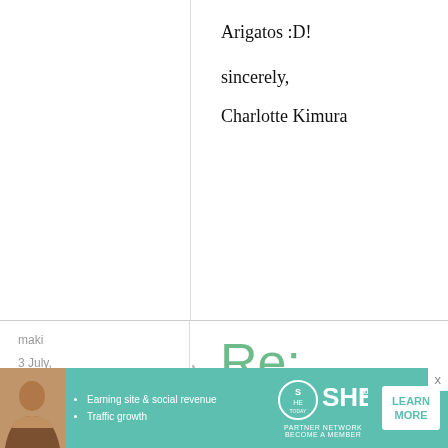Arigatos :D!
sincerely,
Charlotte Kimura
maki
3 July, 2011 - 02:50
permalink
Re: Japanese Basics: How to make Japanese-
[Figure (infographic): Advertisement banner for SHE Media Partner Network. Features a woman's photo, bullet points 'Earning site & social revenue' and 'Traffic growth', SHE Media logo, and a 'LEARN MORE' button. Teal/mint background.]